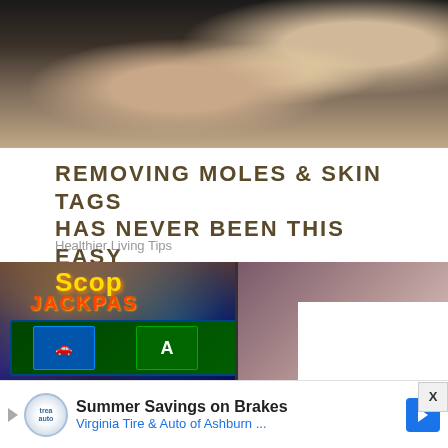[Figure (photo): Close-up photo of a person touching their chin/face, dark background]
REMOVING MOLES & SKIN TAGS HAS NEVER BEEN THIS EASY
Healthier Living Tips
[Figure (photo): Slot machine screen showing game reels with colorful symbols; person in background]
X
Summer Savings on Brakes
Virginia Tire & Auto of Ashburn ...